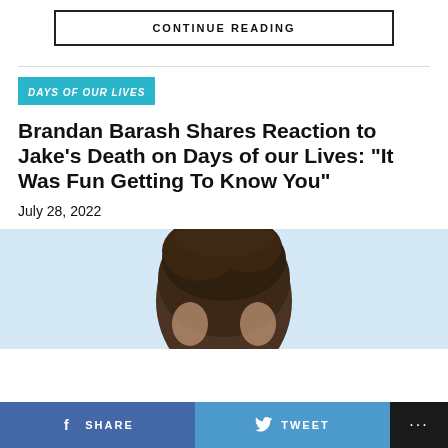CONTINUE READING
DAYS OF OUR LIVES
Brandan Barash Shares Reaction to Jake’s Death on Days of our Lives: “It Was Fun Getting To Know You”
July 28, 2022
[Figure (photo): Photo of a person with dark hair against a light blue background, cropped to show only the top of the head]
SHARE  TWEET  ...